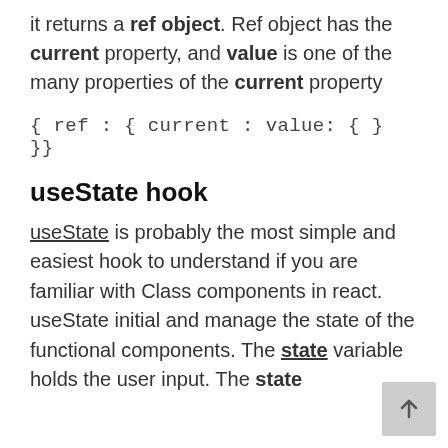it returns a ref object. Ref object has the current property, and value is one of the many properties of the current property
{ ref : { current : value: { } }}
useState hook
useState is probably the most simple and easiest hook to understand if you are familiar with Class components in react. useState initial and manage the state of the functional components. The state variable holds the user input. The state